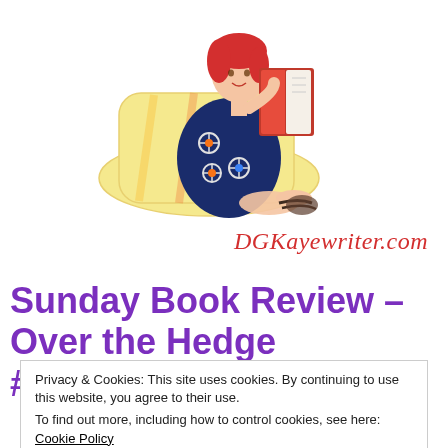[Figure (illustration): Cartoon illustration of a woman in a dark floral dress sitting on a pillow, reading a red book]
DGKayewriter.com
Sunday Book Review – Over the Hedge #Historicalfiction by
Privacy & Cookies: This site uses cookies. By continuing to use this website, you agree to their use.
To find out more, including how to control cookies, see here: Cookie Policy
Close and accept
Welcome to our Sunday Book Review. Today th...